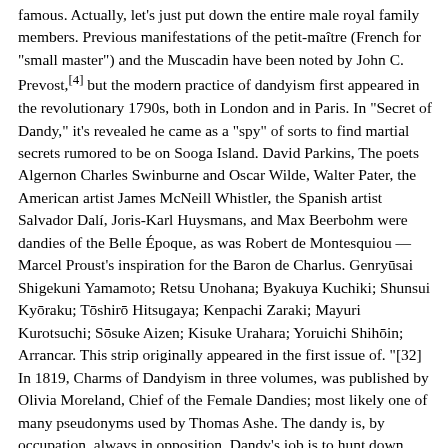famous. Actually, let's just put down the entire male royal family members. Previous manifestations of the petit-maître (French for "small master") and the Muscadin have been noted by John C. Prevost,[4] but the modern practice of dandyism first appeared in the revolutionary 1790s, both in London and in Paris. In "Secret of Dandy," it's revealed he came as a "spy" of sorts to find martial secrets rumored to be on Sooga Island. David Parkins, The poets Algernon Charles Swinburne and Oscar Wilde, Walter Pater, the American artist James McNeill Whistler, the Spanish artist Salvador Dalí, Joris-Karl Huysmans, and Max Beerbohm were dandies of the Belle Époque, as was Robert de Montesquiou — Marcel Proust's inspiration for the Baron de Charlus. Genryūsai Shigekuni Yamamoto; Retsu Unohana; Byakuya Kuchiki; Shunsui Kyōraku; Tōshirō Hitsugaya; Kenpachi Zaraki; Mayuri Kurotsuchi; Sōsuke Aizen; Kisuke Urahara; Yoruichi Shihōin; Arrancar. This strip originally appeared in the first issue of. "[32] In 1819, Charms of Dandyism in three volumes, was published by Olivia Moreland, Chief of the Female Dandies; most likely one of many pseudonyms used by Thomas Ashe. The dandy is, by occupation, always in opposition. Dandy's job is to hunt down unclassified aliens and register them for a reward. He is an anthropomorphic talking dandelion with a lion's face and is always quite "dandy" (making this a pun on the name of his kind). Had previously appeared in The Beezer and Topper. Originally ran from 1955 to 1961. Throughout the novel, dandyism is associated with